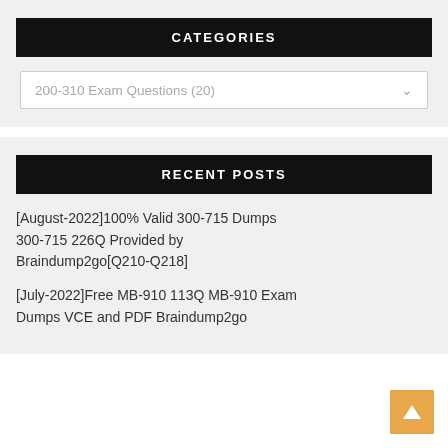CATEGORIES
200-310 Exam Questions  (20)
RECENT POSTS
[August-2022]100% Valid 300-715 Dumps 300-715 226Q Provided by Braindump2go[Q210-Q218]
[July-2022]Free MB-910 113Q MB-910 Exam Dumps VCE and PDF Braindump2go